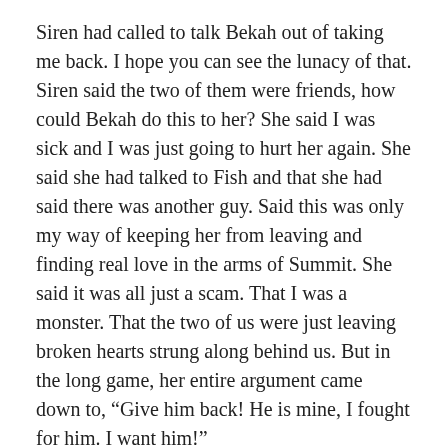Siren had called to talk Bekah out of taking me back. I hope you can see the lunacy of that. Siren said the two of them were friends, how could Bekah do this to her? She said I was sick and I was just going to hurt her again. She said she had talked to Fish and that she had said there was another guy. Said this was only my way of keeping her from leaving and finding real love in the arms of Summit. She said it was all just a scam. That I was a monster. That the two of us were just leaving broken hearts strung along behind us. But in the long game, her entire argument came down to, “Give him back! He is mine, I fought for him. I want him!”
Bekah deflected everything that was hurled at her. With care Bekah said she felt sorry and now she had